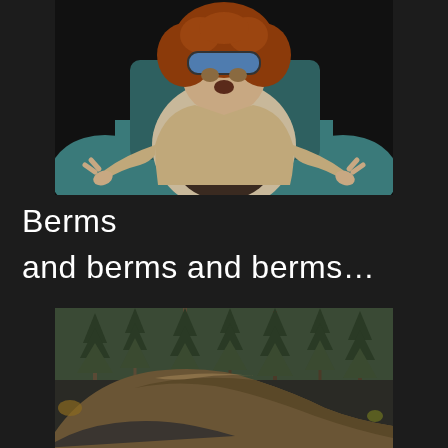[Figure (photo): A man with curly red hair wearing ski goggles on his forehead and a beige jacket, sitting in a teal armchair and pointing with both hands toward the viewer, against a dark background.]
Berms
and berms and berms...
[Figure (photo): An outdoor mountain bike trail with large dirt berms/banked turns, surrounded by tall pine trees, photographed in natural daylight.]